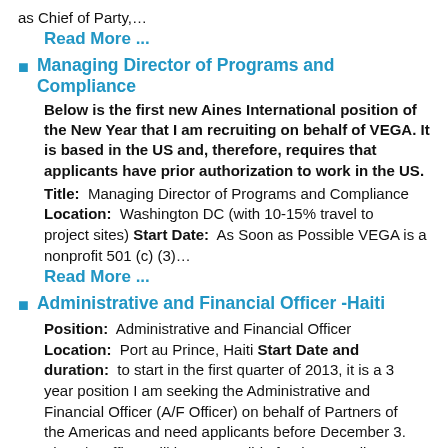as Chief of Party,...
Read More ...
Managing Director of Programs and Compliance
Below is the first new Aines International position of the New Year that I am recruiting on behalf of VEGA. It is based in the US and, therefore, requires that applicants have prior authorization to work in the US. Title: Managing Director of Programs and Compliance Location: Washington DC (with 10-15% travel to project sites) Start Date: As Soon as Possible VEGA is a nonprofit 501 (c) (3)...
Read More ...
Administrative and Financial Officer -Haiti
Position: Administrative and Financial Officer Location: Port au Prince, Haiti Start Date and duration: to start in the first quarter of 2013, it is a 3 year position I am seeking the Administrative and Financial Officer (A/F Officer) on behalf of Partners of the Americas and need applicants before December 3. The A/F Officer will be responsible for the overall administrative and financial...